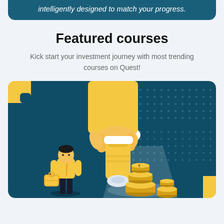intelligently designed to match your progress.
Featured courses
Kick start your investment journey with most trending courses on Quest!
[Figure (illustration): A large hand holding a flashlight/torch shining a beam of light onto stacks of gold coins, while a small person in yellow shirt and black pants carrying a briefcase stands nearby. Set against a dark teal background with decorative dot patterns and yellow accent rectangles in the corners.]